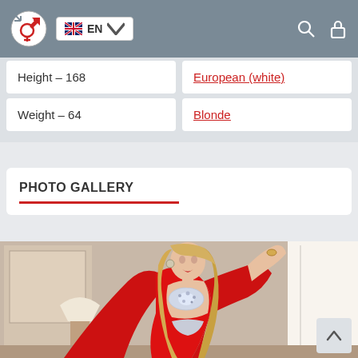Navigation bar with logo, EN language selector, search and lock icons
Height – 168
European (white)
Weight – 64
Blonde
PHOTO GALLERY
[Figure (photo): Woman with long blonde hair wearing a red robe and a sparkling rhinestone bra top, posing in an elegant interior room with a lamp and artwork in background.]